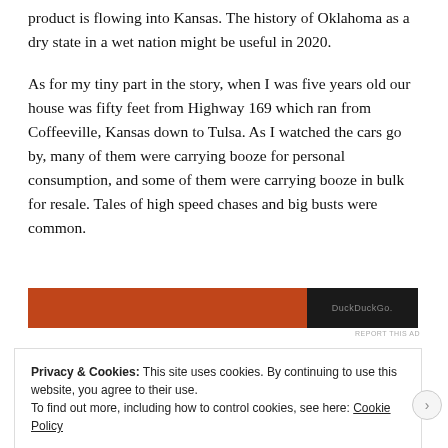product is flowing into Kansas. The history of Oklahoma as a dry state in a wet nation might be useful in 2020.
As for my tiny part in the story, when I was five years old our house was fifty feet from Highway 169 which ran from Coffeeville, Kansas down to Tulsa. As I watched the cars go by, many of them were carrying booze for personal consumption, and some of them were carrying booze in bulk for resale. Tales of high speed chases and big busts were common.
[Figure (other): Advertisement banner with orange and black sections, showing 'DuckDuckGo.' text on the dark portion]
REPORT THIS AD
Privacy & Cookies: This site uses cookies. By continuing to use this website, you agree to their use.
To find out more, including how to control cookies, see here: Cookie Policy
Close and accept